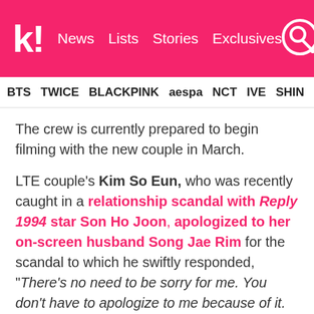Koreaboo | News | Lists | Stories | Exclusives
BTS  TWICE  BLACKPINK  aespa  NCT  IVE  SHINE
The crew is currently prepared to begin filming with the new couple in March.
LTE couple's Kim So Eun, who was recently caught in a relationship scandal with Reply 1994 star Son Ho Joon, apologized to her on-screen husband Song Jae Rim for the scandal to which he swiftly responded, “There’s no need to be sorry for me. You don’t have to apologize to me because of it. Don’t carry such a burden because of the rumors.”
Jongah couple’s Hong Jong Hyun was